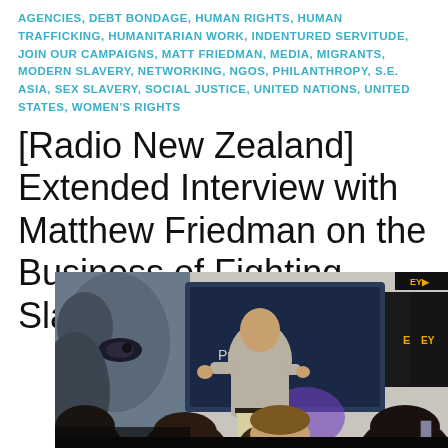AGENCIES, DEBT BONDAGE, HUMAN RIGHTS, HUMAN TRAFFICKING, HUMANITARIAN WORK, INDENTURED SERVITUDE, JOIN OUR CAMPAIGNS, MATT FRIEDMAN, MEDIA, MIGRANTS, MODERN SLAVERY, NETWORKING, NGOS, PHILANTHROPY, S.E. ASIA, SEX SLAVERY, SOCIAL JUSTICE, UNITED NATIONS, UNITED STATES, WOMEN'S RIGHTS
[Radio New Zealand] Extended Interview with Matthew Friedman on the Business of Fighting Slavery
[Figure (photo): A man in a light grey polo shirt stands presenting in front of a large screen showing text including 'ced Prostitution'. Audience members are visible in the foreground. EY logos visible on the right side panels.]